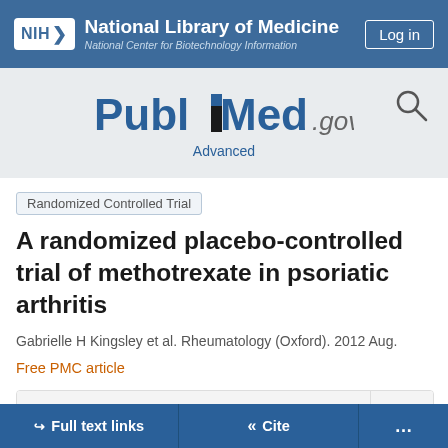NIH National Library of Medicine National Center for Biotechnology Information
[Figure (logo): PubMed.gov logo with search icon and Advanced link]
Randomized Controlled Trial
A randomized placebo-controlled trial of methotrexate in psoriatic arthritis
Gabrielle H Kingsley et al. Rheumatology (Oxford). 2012 Aug.
Free PMC article
Show details
Full text links  Cite